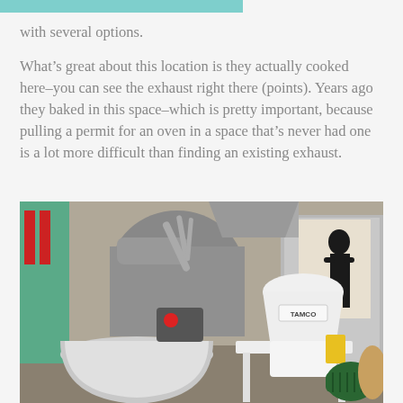with several options.
What’s great about this location is they actually cooked here–you can see the exhaust right there (points). Years ago they baked in this space–which is pretty important, because pulling a permit for an oven in a space that’s never had one is a lot more difficult than finding an existing exhaust.
[Figure (photo): Interior of a bakery space showing commercial baking equipment including a large stand mixer with a stainless steel bowl and a white grain mill or flour machine labeled TAMCO with a green motor, set on a white table. In the background are large industrial equipment, green shelving, and what appears to be a Banksy-style artwork on the wall.]